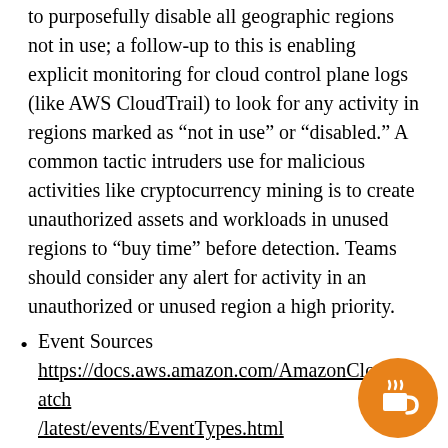to purposefully disable all geographic regions not in use; a follow-up to this is enabling explicit monitoring for cloud control plane logs (like AWS CloudTrail) to look for any activity in regions marked as “not in use” or “disabled.” A common tactic intruders use for malicious activities like cryptocurrency mining is to create unauthorized assets and workloads in unused regions to “buy time” before detection. Teams should consider any alert for activity in an unauthorized or unused region a high priority.
Event Sources https://docs.aws.amazon.com/AmazonCloudWatch/latest/events/EventTypes.html
Cloud Watch Agents – https://docs.aws.amazon.com/AmazonCloudWatch/latest/monitoring/Install-CloudWatch-Agent...
Metrics
https://docs.aws.amazon.com/AmazonCloudWa...